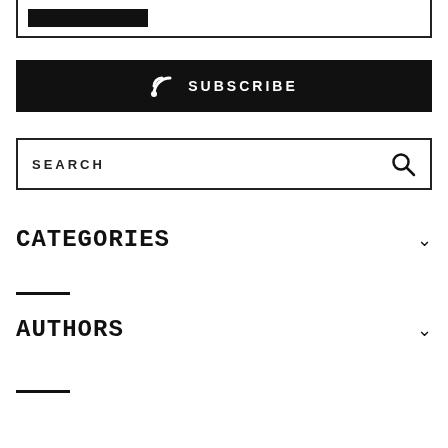[Figure (screenshot): Partial top box with a black bar/button element inside a bordered rectangle, cut off at the top]
[Figure (other): Black subscribe button with RSS icon and text SUBSCRIBE in white]
[Figure (other): Search bar with SEARCH label and magnifying glass icon]
CATEGORIES
AUTHORS